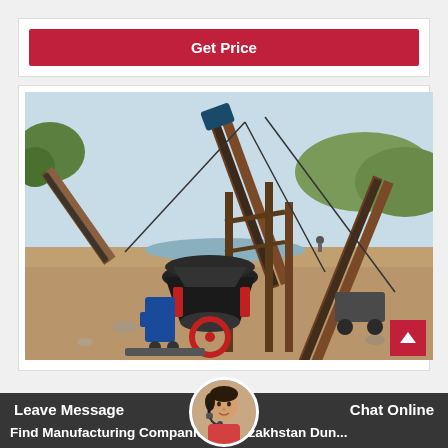Get Price (button)
[Figure (photo): Industrial mining/crushing equipment site showing cone crushers, conveyor belts on metal frames, and various heavy machinery at an outdoor excavation site with greenery in background]
Leave Message   Chat Online
Find Manufacturing Companies In Kazakhstan Dun...